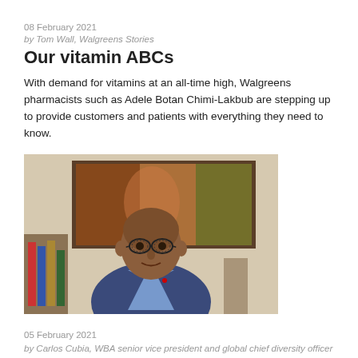08 February 2021
by Tom Wall, Walgreens Stories
Our vitamin ABCs
With demand for vitamins at an all-time high, Walgreens pharmacists such as Adele Botan Chimi-Lakbub are stepping up to provide customers and patients with everything they need to know.
[Figure (photo): Portrait photo of a man wearing glasses and a blue blazer, seated in front of a colorful painting on the wall]
05 February 2021
by Carlos Cubia, WBA senior vice president and global chief diversity officer
The moment we're in